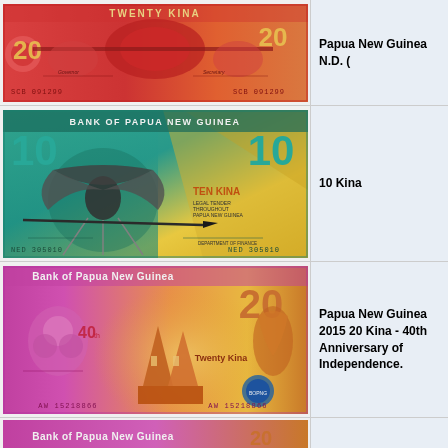[Figure (photo): Papua New Guinea 20 Kina banknote, red/orange color, serial number SCB 091299, front face showing traditional motif and signatures]
Papua New Guinea N.D. (
[Figure (photo): Papua New Guinea 10 Kina banknote, teal/green and yellow, Bank of Papua New Guinea, bird of paradise design, serial number MED 305010, Department of Finance]
10 Kina
[Figure (photo): Papua New Guinea 2015 20 Kina polymer banknote, pink/purple, Bank of Papua New Guinea, building and cultural motifs, serial number AW 15218866, 40th anniversary of Independence]
Papua New Guinea 2015 20 Kina - 40th Anniversary of Independence.
[Figure (photo): Papua New Guinea 20 Kina banknote (partial view, cropped at bottom of page), Bank of Papua New Guinea text visible at top]